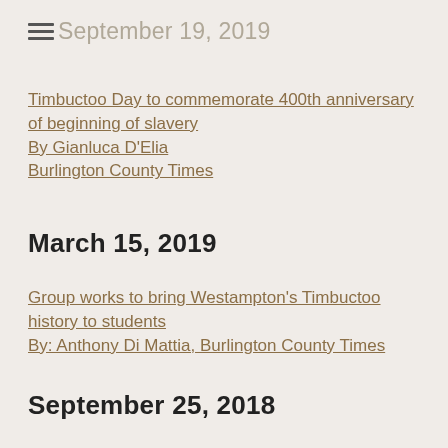September 19, 2019
Timbuctoo Day to commemorate 400th anniversary of beginning of slavery
By Gianluca D'Elia
Burlington County Times
March 15, 2019
Group works to bring Westampton's Timbuctoo history to students
By: Anthony Di Mattia, Burlington County Times
September 25, 2018